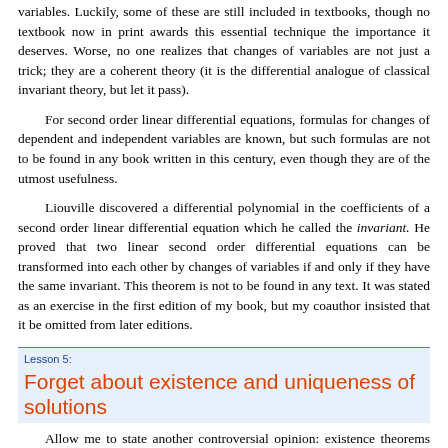variables. Luckily, some of these are still included in textbooks, though no textbook now in print awards this essential technique the importance it deserves. Worse, no one realizes that changes of variables are not just a trick; they are a coherent theory (it is the differential analogue of classical invariant theory, but let it pass).
For second order linear differential equations, formulas for changes of dependent and independent variables are known, but such formulas are not to be found in any book written in this century, even though they are of the utmost usefulness.
Liouville discovered a differential polynomial in the coefficients of a second order linear differential equation which he called the invariant. He proved that two linear second order differential equations can be transformed into each other by changes of variables if and only if they have the same invariant. This theorem is not to be found in any text. It was stated as an exercise in the first edition of my book, but my coauthor insisted that it be omitted from later editions.
Lesson 5: Forget about existence and uniqueness of solutions
Allow me to state another controversial opinion: existence theorems for the solutions of ordinary differential equations are not as important as they are cracked up to be. They are "psychological